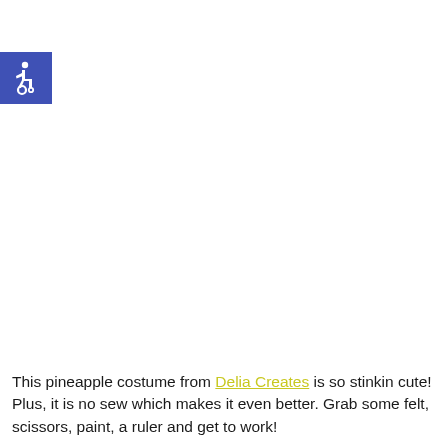[Figure (logo): Blue square with white wheelchair accessibility icon (ISA symbol)]
This pineapple costume from Delia Creates is so stinkin cute! Plus, it is no sew which makes it even better. Grab some felt, scissors, paint, a ruler and get to work!